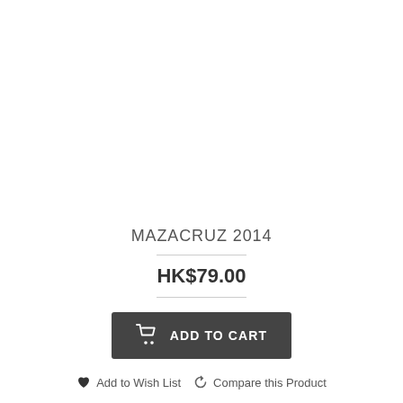MAZACRUZ 2014
HK$79.00
ADD TO CART
Add to Wish List   Compare this Product